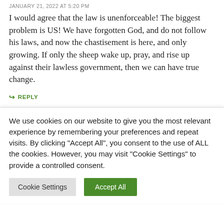JANUARY 21, 2022 AT 5:20 PM
I would agree that the law is unenforceable! The biggest problem is US! We have forgotten God, and do not follow his laws, and now the chastisement is here, and only growing. If only the sheep wake up, pray, and rise up against their lawless government, then we can have true change.
↪ REPLY
We use cookies on our website to give you the most relevant experience by remembering your preferences and repeat visits. By clicking "Accept All", you consent to the use of ALL the cookies. However, you may visit "Cookie Settings" to provide a controlled consent.